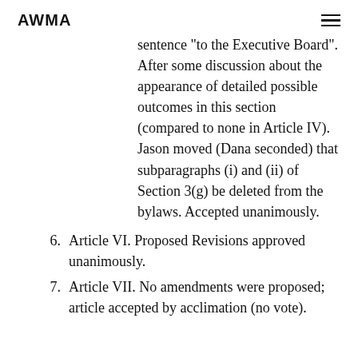AWMA
sentence "to the Executive Board". After some discussion about the appearance of detailed possible outcomes in this section (compared to none in Article IV). Jason moved (Dana seconded) that subparagraphs (i) and (ii) of Section 3(g) be deleted from the bylaws. Accepted unanimously.
6. Article VI. Proposed Revisions approved unanimously.
7. Article VII. No amendments were proposed; article accepted by acclimation (no vote).